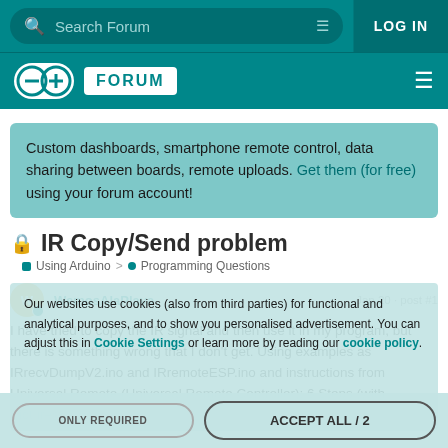Search Forum | LOG IN
[Figure (logo): Arduino Forum logo with infinity symbol and FORUM badge]
Custom dashboards, smartphone remote control, data sharing between boards, remote uploads. Get them (for free) using your forum account!
IR Copy/Send problem
Using Arduino > Programming Questions
WemosAlaPlaya  Jan 20  post #1
I have tried to copy the IR signal and then use it in my program, but there is something wrong that I don't get. Using examples as IRrecvDumpV2.ino and IRremoteESP.ino and instructions from Universal Remote (Universal Remote Controller): 6 Steps (with Pictures) - Ins
Our websites use cookies (also from third parties) for functional and analytical purposes, and to show you personalised advertisement. You can adjust this in Cookie Settings or learn more by reading our cookie policy.
ONLY REQUIRED | ACCEPT ALL / 2